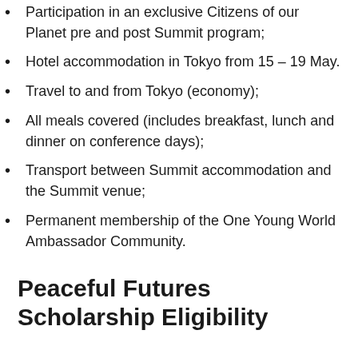Participation in an exclusive Citizens of our Planet pre and post Summit program;
Hotel accommodation in Tokyo from 15 – 19 May.
Travel to and from Tokyo (economy);
All meals covered (includes breakfast, lunch and dinner on conference days);
Transport between Summit accommodation and the Summit venue;
Permanent membership of the One Young World Ambassador Community.
Peaceful Futures Scholarship Eligibility